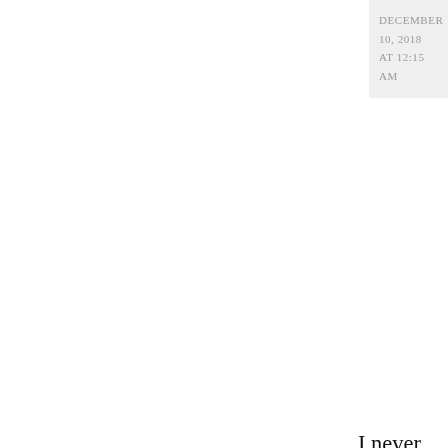DECEMBER 10, 2018 AT 12:15 AM
I never considered a book review to be in “essay-format”, but